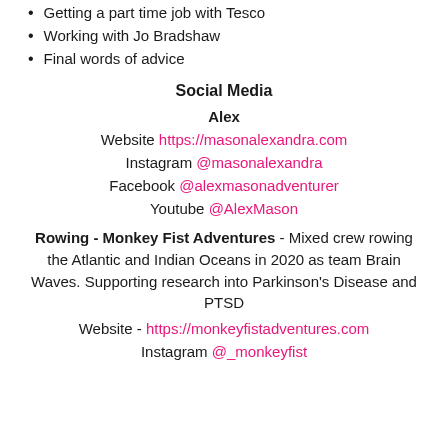Getting a part time job with Tesco
Working with Jo Bradshaw
Final words of advice
Social Media
Alex
Website https://masonalexandra.com
Instagram @masonalexandra
Facebook @alexmasonadventurer
Youtube @AlexMason
Rowing - Monkey Fist Adventures - Mixed crew rowing the Atlantic and Indian Oceans in 2020 as team Brain Waves. Supporting research into Parkinson's Disease and PTSD
Website - https://monkeyfistadventures.com
Instagram @_monkeyfist